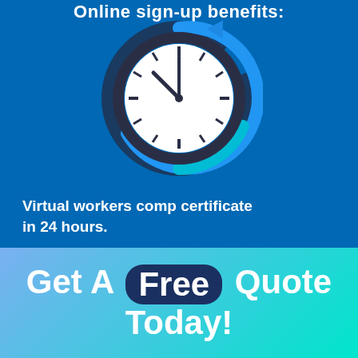Online sign-up benefits:
[Figure (illustration): A clock icon with a blue circular arrow around it, indicating quick turnaround time, on a blue background.]
Virtual workers comp certificate in 24 hours.
Get A Free Quote Today!